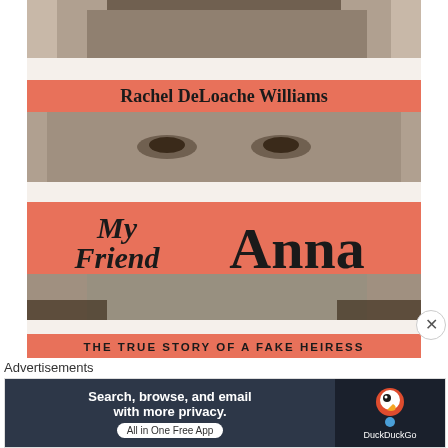[Figure (illustration): Book cover of 'My Friend Anna' by Rachel DeLoache Williams. Salmon/coral colored cover with a black and white photo of a woman's face revealed through horizontal strips/bands. Title text 'My Friend Anna' in bold serif font. Subtitle 'THE TRUE STORY OF A FAKE HEIRESS' in spaced sans-serif. Author name 'Rachel DeLoache Williams' at top.]
Advertisements
[Figure (illustration): DuckDuckGo advertisement banner. Dark background on right with DuckDuckGo duck logo. Left side with text: 'Search, browse, and email with more privacy.' and 'All in One Free App' button.]